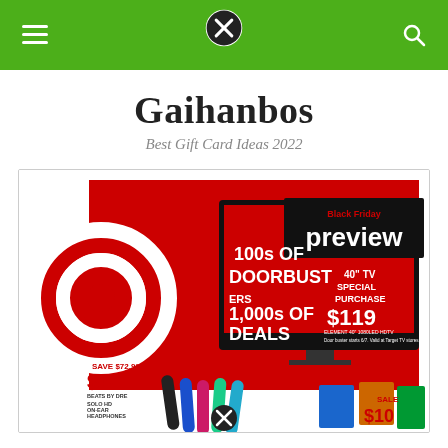Gaihanbos navigation bar with hamburger menu, X close button, and search icon
Gaihanbos
Best Gift Card Ideas 2022
[Figure (screenshot): Target Black Friday preview advertisement showing 100s of Doorbusters, 1,000s of Deals. Features Target bullseye logo, a 40-inch TV for $119 special purchase, Beats by Dre Solo HD On-Ear Headphones Save $72.99 now $97, fitness tracker bands, and Sale $10 items. Black Friday preview banner in top right.]